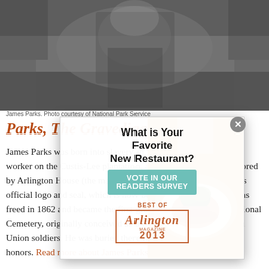[Figure (photo): Grayscale historical photograph of James Parks, used as page header image]
James Parks. Photo courtesy of National Park Service
Parks, The Gravedigger
[Figure (photo): Modal overlay popup with restaurant food photo (plated dish) on the right side, showing 'What is Your Favorite New Restaurant?' survey prompt for Arlington Magazine Best Of 2013 Readers Survey]
James Parks was born into slavery in 1843 and became a field worker on the Custis-Lee plantation, a sprawling property anchored by Arlington House (the mansion depicted in Arlington County's official logo and seal, which is now being redesigned). Parks was freed in 1862 and became the first gravedigger at Arlington National Cemetery, originally conceived as a final resting place for fallen Union soldiers. He was buried there in 1928, with full military honors. Read more about James Parks here.